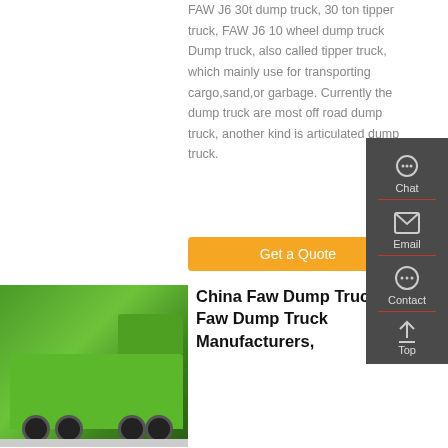FAW J6 30t dump truck, 30 ton tipper truck, FAW J6 10 wheel dump truck Dump truck, also called tipper truck, which mainly use for transporting cargo,sand,or garbage. Currently the dump truck are most off road dump truck, another kind is articulated dump truck.
[Figure (other): Orange 'Get a Quote' button]
[Figure (photo): Green FAW HOWO dump truck photographed outdoors against a building backdrop]
China Faw Dump Truck, Faw Dump Truck Manufacturers,